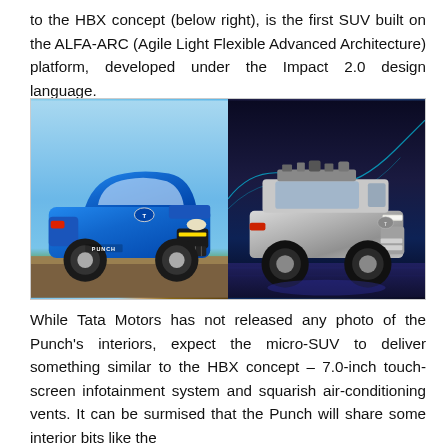to the HBX concept (below right), is the first SUV built on the ALFA-ARC (Agile Light Flexible Advanced Architecture) platform, developed under the Impact 2.0 design language.
[Figure (photo): Two Tata SUV vehicles side by side. Left: Tata Punch in blue color outdoors. Right: Tata HBX concept car in silver/grey on a display stage with teal lighting.]
While Tata Motors has not released any photo of the Punch's interiors, expect the micro-SUV to deliver something similar to the HBX concept – 7.0-inch touch-screen infotainment system and squarish air-conditioning vents. It can be surmised that the Punch will share some interior bits like the